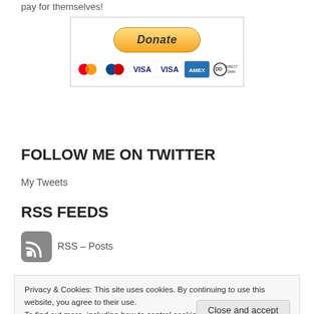pay for themselves!
[Figure (other): PayPal Donate button with payment card icons: MasterCard, Maestro, VISA, VISA, American Express, Direct Debit]
FOLLOW ME ON TWITTER
My Tweets
RSS FEEDS
[Figure (other): RSS feed icon]
RSS – Posts
Privacy & Cookies: This site uses cookies. By continuing to use this website, you agree to their use.
To find out more, including how to control cookies, see here: Cookie Policy
Close and accept
as they're published.